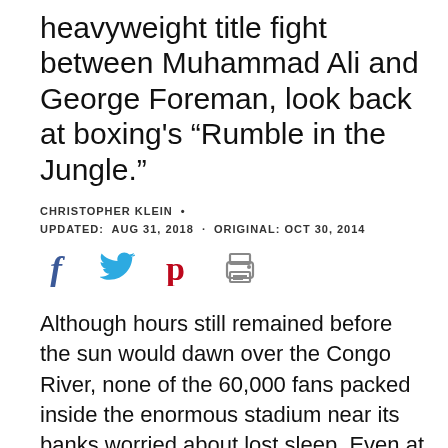heavyweight title fight between Muhammad Ali and George Foreman, look back at boxing's "Rumble in the Jungle."
CHRISTOPHER KLEIN ·
UPDATED: AUG 31, 2018 · ORIGINAL: OCT 30, 2014
[Figure (infographic): Social sharing icons: Facebook (blue f), Twitter (blue bird), Pinterest (red P), print (grey printer icon)]
Although hours still remained before the sun would dawn over the Congo River, none of the 60,000 fans packed inside the enormous stadium near its banks worried about lost sleep. Even at 4:30 a.m., an electric energy crackled through the sweltering air of Kinshasa, Zaire, as 32-year-